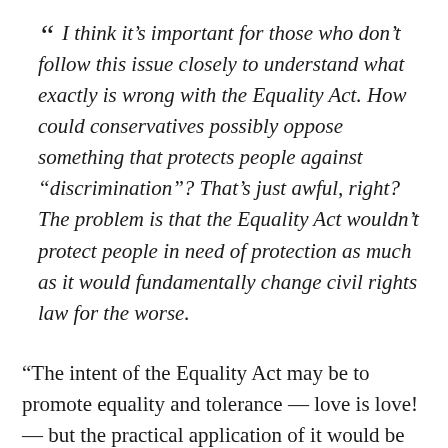“ I think it’s important for those who don’t follow this issue closely to understand what exactly is wrong with the Equality Act. How could conservatives possibly oppose something that protects people against “discrimination”? That’s just awful, right? The problem is that the Equality Act wouldn’t protect people in need of protection as much as it would fundamentally change civil rights law for the worse.
“The intent of the Equality Act may be to promote equality and tolerance — love is love! — but the practical application of it would be to grant biological